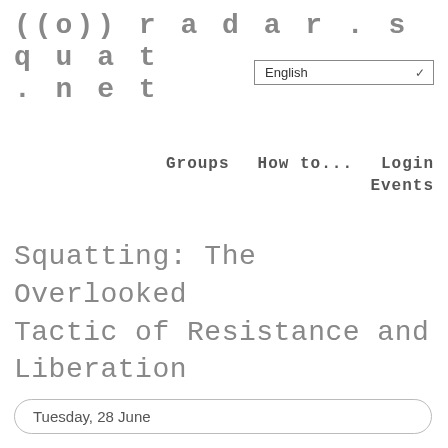((o)) radar.squat.net
English
Groups   How to...   Login   Events
Squatting: The Overlooked Tactic of Resistance and Liberation
Tuesday, 28 June